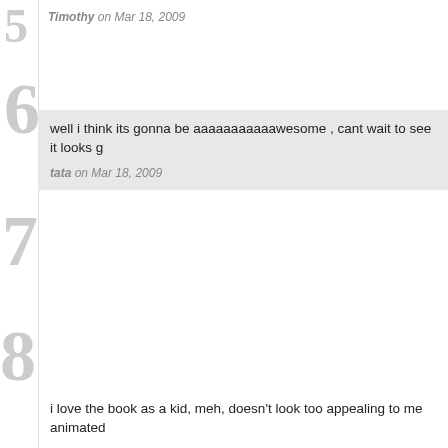5 — Timothy on Mar 18, 2009
6 — well i think its gonna be aaaaaaaaaaawesome , cant wait to see it looks g — tata on Mar 18, 2009
7 — i love the book as a kid, meh, doesn't look too appealing to me animated — The Delightful Deviant on Mar 18, 2009
8 — "No School!!!" *wink* — miracle disease on Mar 18, 2009
9 — The book was awesome. I was in first grade some 21 yrs ago when n adaptation. I hope they captured some of what made the book so great. — Mr j Money on Mar 18, 2009
10 — this is nothing like the book at all, good! this looks fun! — bart on Mar 18, 2009